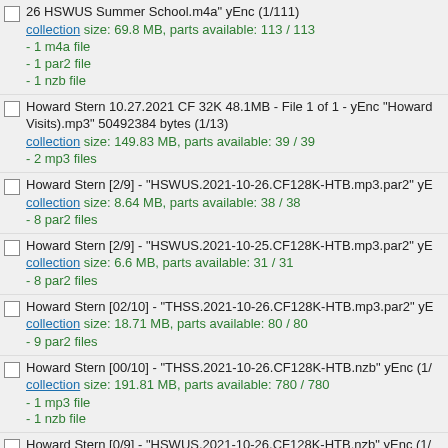26 HSWUS Summer School.m4a" yEnc (1/111)
collection size: 69.8 MB, parts available: 113 / 113
- 1 m4a file
- 1 par2 file
- 1 nzb file
Howard Stern 10.27.2021 CF 32K 48.1MB - File 1 of 1 - yEnc "Howard Visits).mp3" 50492384 bytes (1/13)
collection size: 149.83 MB, parts available: 39 / 39
- 2 mp3 files
Howard Stern [2/9] - "HSWUS.2021-10-26.CF128K-HTB.mp3.par2" yE
collection size: 8.64 MB, parts available: 38 / 38
- 8 par2 files
Howard Stern [2/9] - "HSWUS.2021-10-25.CF128K-HTB.mp3.par2" yE
collection size: 6.6 MB, parts available: 31 / 31
- 8 par2 files
Howard Stern [02/10] - "THSS.2021-10-26.CF128K-HTB.mp3.par2" yE
collection size: 18.71 MB, parts available: 80 / 80
- 9 par2 files
Howard Stern [00/10] - "THSS.2021-10-26.CF128K-HTB.nzb" yEnc (1/
collection size: 191.81 MB, parts available: 780 / 780
- 1 mp3 file
- 1 nzb file
Howard Stern [0/9] - "HSWUS.2021-10-26.CF128K-HTB.nzb" yEnc (1/
collection size: 87.49 MB, parts available: 356 / 356
- 1 nzb file
- 1 mp3 file
Howard Stern [0/9] - "HSWUS.2021-10-25.CF128K-HTB.nzb" yEnc (1/
collection size: 65.5 MB, parts available: 267 / 267
- 1 nzb file
- 1 mp3 file
Howard Stern 10.26.2021 CF 32K 43.4MB - File 1 of 1 - yEnc "Howard Tricks For Cocktober).mp3" 45518720 bytes (1/12)